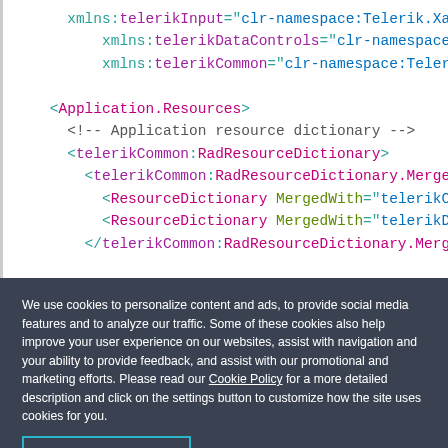[Figure (screenshot): Code snippet showing XML namespace declarations and Application.Resources block with telerikCommon RadResourceDictionary elements, displayed with syntax highlighting (teal, purple, magenta, green colors) on white background with left gray border.]
We use cookies to personalize content and ads, to provide social media features and to analyze our traffic. Some of these cookies also help improve your user experience on our websites, assist with navigation and your ability to provide feedback, and assist with our promotional and marketing efforts. Please read our Cookie Policy for a more detailed description and click on the settings button to customize how the site uses cookies for you.
ACCEPT COOKIES
COOKIES SETTINGS